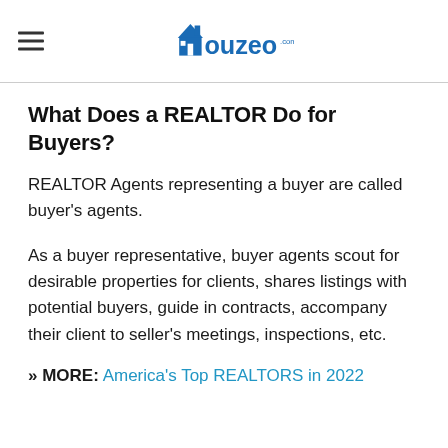Houzeo.com
What Does a REALTOR Do for Buyers?
REALTOR Agents representing a buyer are called buyer's agents.
As a buyer representative, buyer agents scout for desirable properties for clients, shares listings with potential buyers, guide in contracts, accompany their client to seller's meetings, inspections, etc.
» MORE: America's Top REALTORS in 2022